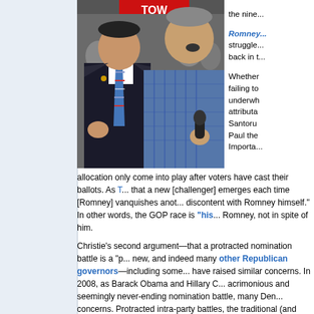[Figure (photo): Two men standing together at a political event, one in a suit with a striped tie, one in a plaid shirt holding a microphone, with a crowd in the background and a red sign partially visible.]
the nine... Romney... struggle... back in t...
Whether failing to underwh attributa Santoru Paul the Importa...
allocation only come into play after voters have cast their ballots. As T... that a new [challenger] emerges each time [Romney] vanquishes anot... discontent with Romney himself." In other words, the GOP race is "his... Romney, not in spite of him.
Christie's second argument—that a protracted nomination battle is a "p... new, and indeed many other Republican governors—including some... have raised similar concerns. In 2008, as Barack Obama and Hillary C... acrimonious and seemingly never-ending nomination battle, many Den... concerns. Protracted intra-party battles, the traditional (and tired) argu... on and uniting against its general election adversary (in this case Pres... party's eventual nominee.
But as 2008 showed, this conventional wisdom does not always reflec... analysts thought John McCain's early nomination victory would benefit... pivot to the general election, it soon became clear that the Democrats...